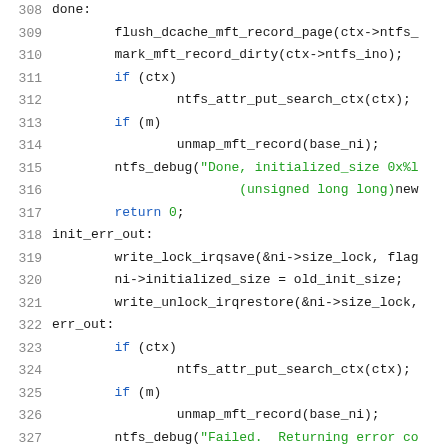Source code listing, lines 308-329, C kernel code (NTFS driver)